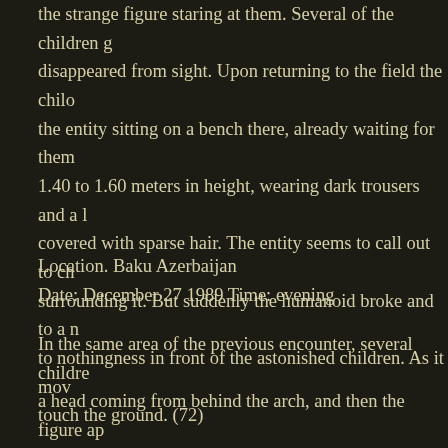the strange figure staring at them. Several of the children g disappeared from sight. Upon returning to the field the chilo the entity sitting on a bench there, already waiting for them 1.40 to 1.60 meters in height, wearing dark trousers and a covered with sparse hair. The entity seems to call out to ch surrounding it. But suddenly the humanoid broke and to a n to nothingness in front of the astonished children. As it mov touch the ground. (72)
Location. Baku Azerbaijan
Date: December 27 1989 Time: evening
In the same area of the previous encounter, several childre a head coming from behind the arch, and then the figure ap attempted to approach the site, suddenly bounced back fall described the entity as having glowing eyes, cherry red in c children threw a stone at the entity; however the stone and